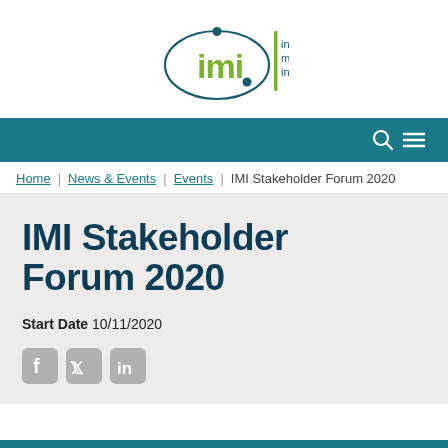[Figure (logo): IMI - Innovative Medicines Initiative logo with teal oval and green 'imi' letters, vertical green bar separator, and teal text 'innovative medicines initiative']
[Figure (screenshot): Teal navigation bar with search and hamburger menu icons on the right]
Home | News & Events | Events | IMI Stakeholder Forum 2020
IMI Stakeholder Forum 2020
Start Date 10/11/2020
[Figure (illustration): Social media icons: Facebook, Twitter, LinkedIn in grey rounded squares]